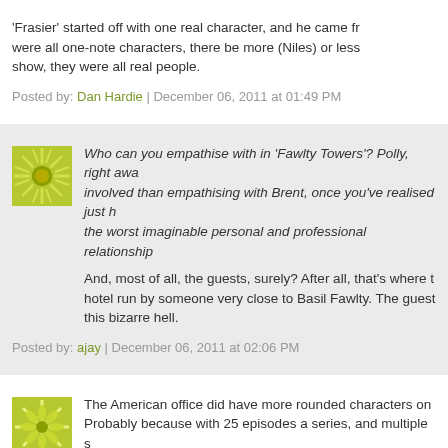'Frasier' started off with one real character, and he came from... were all one-note characters, there be more (Niles) or less... show, they were all real people.
Posted by: Dan Hardie | December 06, 2011 at 01:49 PM
[Figure (illustration): Green sunburst avatar icon]
Who can you empathise with in 'Fawlty Towers'? Polly, right away... involved than empathising with Brent, once you've realised just h... the worst imaginable personal and professional relationship
And, most of all, the guests, surely? After all, that's where t... hotel run by someone very close to Basil Fawlty. The guest... this bizarre hell.
Posted by: ajay | December 06, 2011 at 02:06 PM
[Figure (illustration): Green snowflake/star avatar icon]
The American office did have more rounded characters on... Probably because with 25 episodes a series, and multiple s... in comparing the two, and what it says about the respectiv...
Generally the problem US sitcoms have, and there are defi... Development, for example), is that they're written by comm... There are very few US sitcoms which wander off into insan...